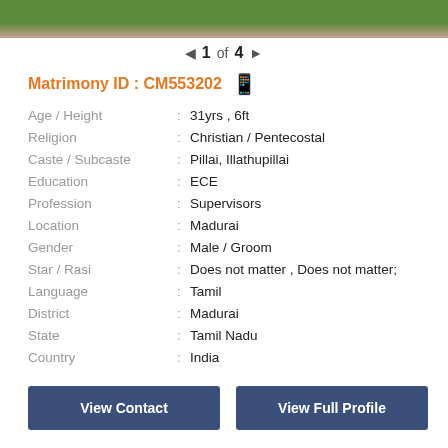[Figure (photo): Partial photo strip showing grass and pink/red colors at top of card]
◄  1 of 4  ►
Matrimony ID : CM553202
| Field | : | Value |
| --- | --- | --- |
| Age / Height | : | 31yrs , 6ft |
| Religion | : | Christian / Pentecostal |
| Caste / Subcaste | : | Pillai, Illathupillai |
| Education | : | ECE |
| Profession | : | Supervisors |
| Location | : | Madurai |
| Gender | : | Male / Groom |
| Star / Rasi | : | Does not matter , Does not matter; |
| Language | : | Tamil |
| District | : | Madurai |
| State | : | Tamil Nadu |
| Country | : | India |
View Contact
View Full Profile